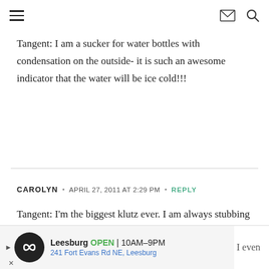Navigation menu, mail icon, search icon
Tangent: I am a sucker for water bottles with condensation on the outside- it is such an awesome indicator that the water will be ice cold!!!
CAROLYN · APRIL 27, 2011 AT 2:29 PM · REPLY
Tangent: I'm the biggest klutz ever. I am always stubbing my toes. This may be TMI or gross but I've had toe nails and finger nails ripped out from my
I even